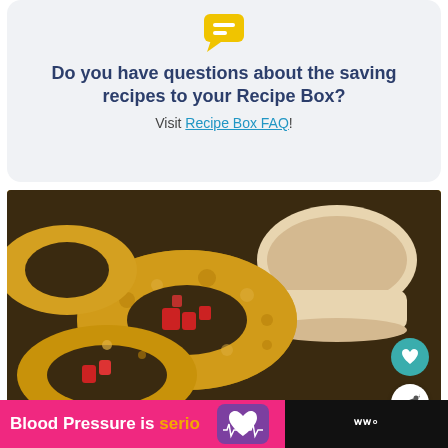[Figure (logo): Yellow speech bubble / chat icon]
Do you have questions about the saving recipes to your Recipe Box?
Visit Recipe Box FAQ!
[Figure (photo): Close-up photo of breaded fried onion rings with red peppers and a dipping sauce in a white ramekin]
Blood Pressure is serious